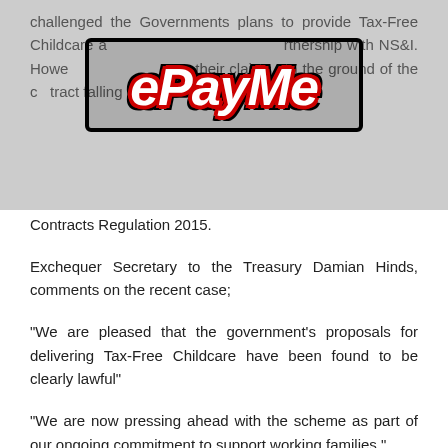challenged the Governments plans to provide Tax-Free Childcare as a partnership with NS&I. However, their claims, on the ground of the contract falling under Public Contracts Regulation 2015.
[Figure (logo): ePayMe logo — stylised italic bold white lettering with red and black outline border]
Exchequer Secretary to the Treasury Damian Hinds, comments on the recent case;
“We are pleased that the government’s proposals for delivering Tax-Free Childcare have been found to be clearly lawful”
“We are now pressing ahead with the scheme as part of our ongoing commitment to support working families.”
With an increase of £1 billion spent on childcare in the last